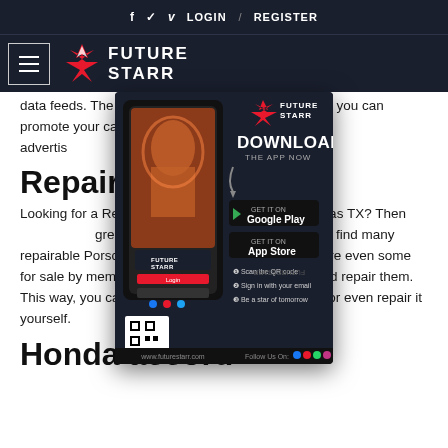f  t  v  LOGIN  /  REGISTER
[Figure (logo): Future Starr logo with hamburger menu on dark navy background]
data feeds. The process of listing your car is free, so you can promote your car ... ever, should consider advertis... eds site such as Autopten.
[Figure (screenshot): Future Starr app download popup ad showing a phone, Download The App Now text, Google Play and App Store buttons, QR code, and www.futurestarr.com]
Repairabl...
Looking for a Rep... on Craigslist Dallas TX? Then ... great source for salvaged cars. You can find many repairable Porsches listed on Craigslist, and there are even some for sale by members who are willing to dismantle and repair them. This way, you can get a great deal on a classic car, or even repair it yourself.
Honda accord